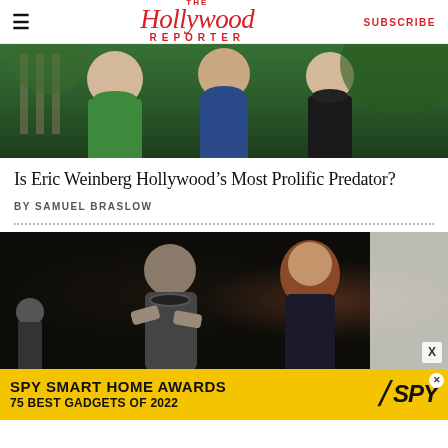The Hollywood Reporter  SUBSCRIBE
[Figure (photo): Three women standing outdoors near a fence and greenery, wearing green floral dress, blue dress, and black outfit respectively]
Is Eric Weinberg Hollywood’s Most Prolific Predator?
BY SAMUEL BRASLOW
[Figure (photo): A man with headphones around his neck gesturing with his hands while talking to a woman with curly red hair on a film set]
[Figure (other): SPY SMART HOME AWARDS 75 BEST GADGETS OF 2022 advertisement banner with yellow background and SPY logo]